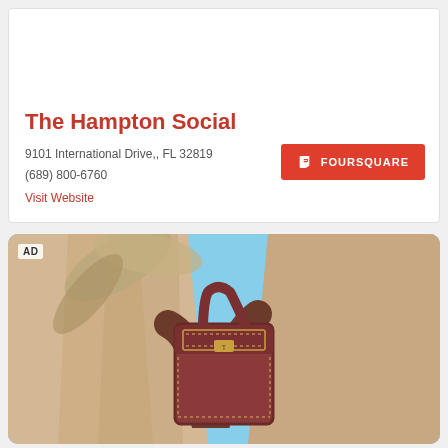The Hampton Social
9101 International Drive,, FL 32819
(689) 800-6760
Visit Website
[Figure (photo): Advertisement photo showing a person holding a dark red/burgundy leather handbag with stitching detail, against a sandy stone architectural background and blue sky.]